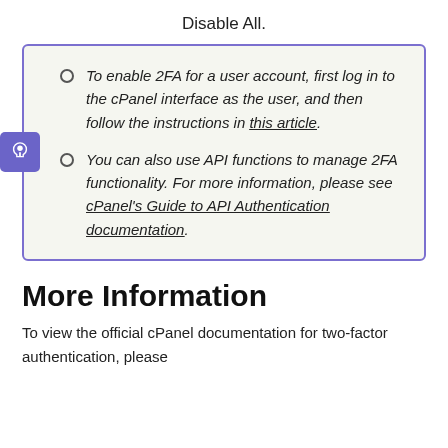Disable All.
To enable 2FA for a user account, first log in to the cPanel interface as the user, and then follow the instructions in this article.
You can also use API functions to manage 2FA functionality. For more information, please see cPanel's Guide to API Authentication documentation.
More Information
To view the official cPanel documentation for two-factor authentication, please